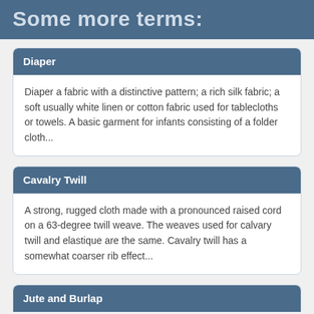Some more terms:
Diaper
Diaper a fabric with a distinctive pattern; a rich silk fabric; a soft usually white linen or cotton fabric used for tablecloths or towels. A basic garment for infants consisting of a folder cloth...
Cavalry Twill
A strong, rugged cloth made with a pronounced raised cord on a 63-degree twill weave. The weaves used for calvary twill and elastique are the same. Cavalry twill has a somewhat coarser rib effect...
Jute and Burlap